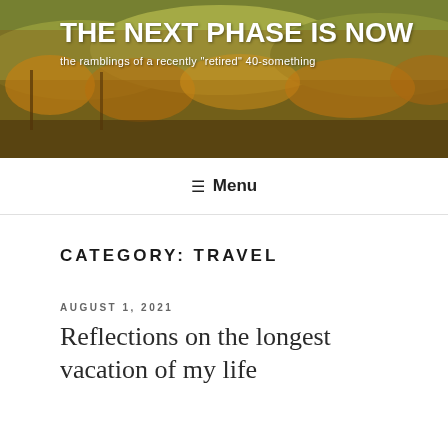[Figure (photo): Vineyard landscape photo with autumn foliage in orange and yellow tones, serving as website header background]
THE NEXT PHASE IS NOW
the ramblings of a recently "retired" 40-something
≡ Menu
CATEGORY: TRAVEL
AUGUST 1, 2021
Reflections on the longest vacation of my life